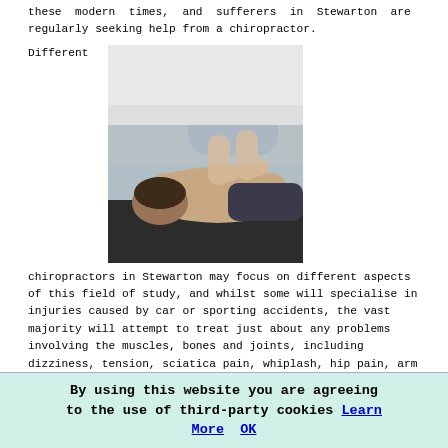these modern times, and sufferers in Stewarton are regularly seeking help from a chiropractor.
Different
[Figure (photo): A chiropractor performing a back adjustment on a patient lying face down on a treatment table.]
chiropractors in Stewarton may focus on different aspects of this field of study, and whilst some will specialise in injuries caused by car or sporting accidents, the vast majority will attempt to treat just about any problems involving the muscles, bones and joints, including dizziness, tension, sciatica pain, whiplash, hip pain, arm pain, leg pain, back ache, tennis elbow, shoulder pain, tinnitus, plagiocephaly, neck pain, headaches, frozen shoulder, lower back pain, knee pain, foot pain, ankle
By using this website you are agreeing to the use of third-party cookies Learn More OK